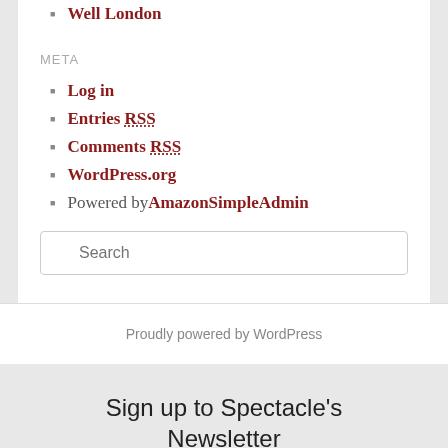Well London
META
Log in
Entries RSS
Comments RSS
WordPress.org
Powered by AmazonSimpleAdmin
Search
Proudly powered by WordPress
Sign up to Spectacle's Newsletter